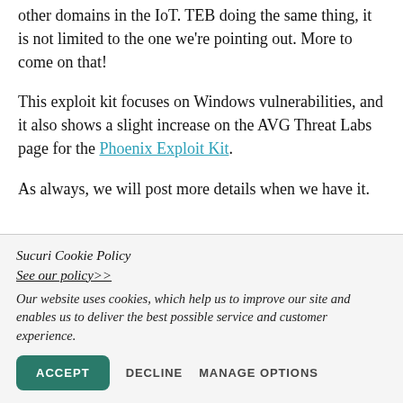other domains in the IoT. TEB doing the same thing, it is not limited to the one we're pointing out. More to come on that!
This exploit kit focuses on Windows vulnerabilities, and it also shows a slight increase on the AVG Threat Labs page for the Phoenix Exploit Kit.
As always, we will post more details when we have it.
Sucuri Cookie Policy
See our policy>>
Our website uses cookies, which help us to improve our site and enables us to deliver the best possible service and customer experience.